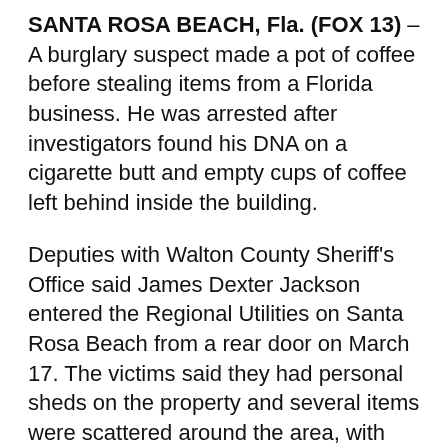SANTA ROSA BEACH, Fla. (FOX 13) – A burglary suspect made a pot of coffee before stealing items from a Florida business. He was arrested after investigators found his DNA on a cigarette butt and empty cups of coffee left behind inside the building.
Deputies with Walton County Sheriff's Office said James Dexter Jackson entered the Regional Utilities on Santa Rosa Beach from a rear door on March 17. The victims said they had personal sheds on the property and several items were scattered around the area, with few missing, including several fishing rods and a wakeboard.
Deputies said the stolen items were worth nearly $3,375.
Inside of the buildings were several tables typically